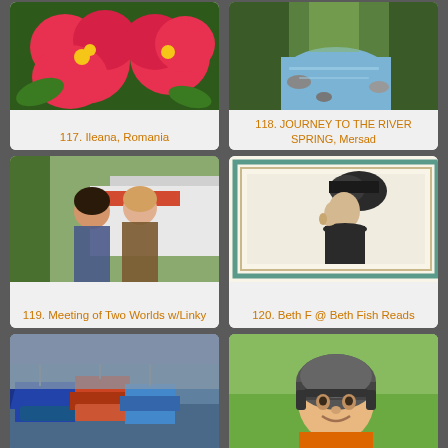[Figure (photo): Close-up of red flowers with yellow stamens]
117. Ileana, Romania
[Figure (photo): Forest stream with rocks and green trees]
118. JOURNEY TO THE RIVER SPRING, Mersad
[Figure (photo): Two women posing together outdoors near trees and a white vehicle]
119. Meeting of Two Worlds w/Linky
[Figure (photo): Vintage illustration of a woman in profile wearing an elaborate hat, with teal border frame]
120. Beth F @ Beth Fish Reads
[Figure (photo): Colorful fishing boats docked at a harbor]
[Figure (photo): Young child smiling wearing a bicycle helmet outdoors]